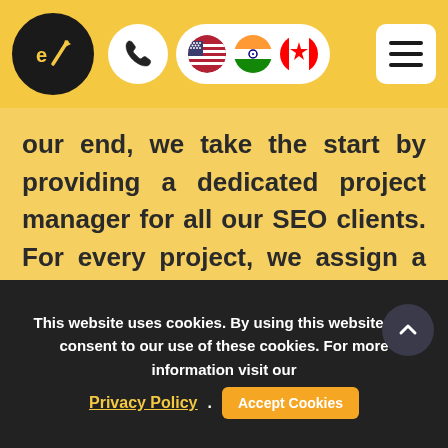eV logo with phone, US flag, India flag, Canada flag icons, and hamburger menu
our end, we take the start by providing a dedicated project manager for all our SEO clients. For every project, we assign a dedicated project manager that keeps the communication consistent between our clients and us.
This website uses cookies. By using this website you consent to our use of these cookies. For more information visit our Privacy Policy. Accept Cookies